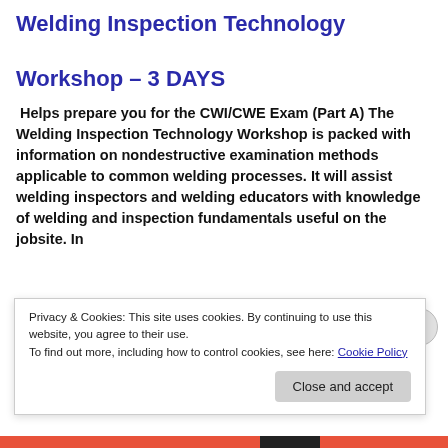Welding Inspection Technology Workshop – 3 DAYS
Helps prepare you for the CWI/CWE Exam (Part A) The Welding Inspection Technology Workshop is packed with information on nondestructive examination methods applicable to common welding processes. It will assist welding inspectors and welding educators with knowledge of welding and inspection fundamentals useful on the jobsite. In
Privacy & Cookies: This site uses cookies. By continuing to use this website, you agree to their use.
To find out more, including how to control cookies, see here: Cookie Policy